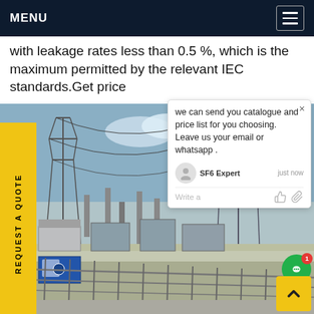MENU
with leakage rates less than 0.5 %, which is the maximum permitted by the relevant IEC standards.Get price
[Figure (photo): Photo of an electrical substation with high-voltage transmission towers, insulators, transformers, and metal fencing. Outdoor facility under blue sky.]
REQUEST A QUOTE
we can send you catalogue and price list for you choosing.
Leave us your email or whatsapp .
SF6 Expert   just now
Write a